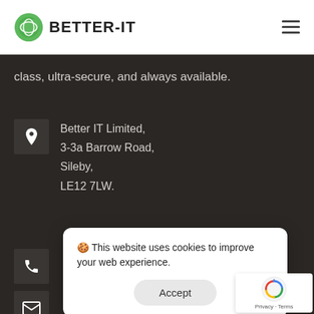BETTER-IT
class, ultra-secure, and always available.
Better IT Limited,
3-3a Barrow Road,
Sileby,
LE12 7LW.
🍪 This website uses cookies to improve your web experience. Accept
[Figure (logo): reCAPTCHA badge with spinning arrows logo and Privacy - Terms text]